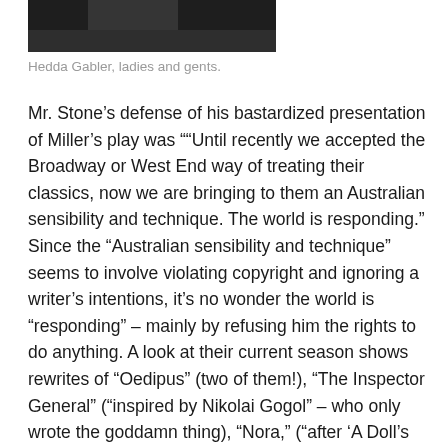[Figure (photo): Cropped photo showing the top portion of a person's head/hair against a dark background]
Hedda Gabler, ladies and gents.
Mr. Stone's defense of his bastardized presentation of Miller's play was ""Until recently we accepted the Broadway or West End way of treating their classics, now we are bringing to them an Australian sensibility and technique. The world is responding." Since the “Australian sensibility and technique” seems to involve violating copyright and ignoring a writer’s intentions, it’s no wonder the world is “responding” – mainly by refusing him the rights to do anything. A look at their current season shows rewrites of “Oedipus” (two of them!), “The Inspector General” (“inspired by Nikolai Gogol” – who only wrote the goddamn thing), “Nora,” (“after ‘A Doll’s House’ by Henrik Ibsen”), “A Christmas Carol” (“after Charles Dickens”) and